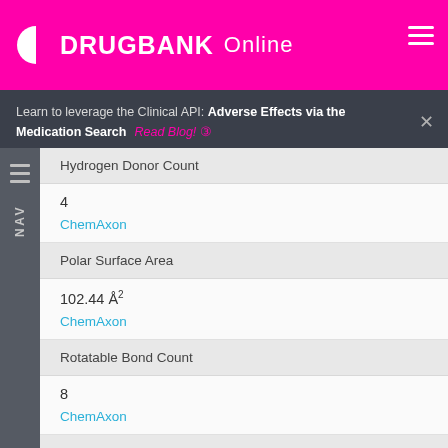DRUGBANK Online
Learn to leverage the Clinical API: Adverse Effects via the Medication Search  Read Blog!
| Property | Value | Source |
| --- | --- | --- |
| Hydrogen Donor Count | 4 | ChemAxon |
| Polar Surface Area | 102.44 Å² | ChemAxon |
| Rotatable Bond Count | 8 | ChemAxon |
| Refractivity |  |  |